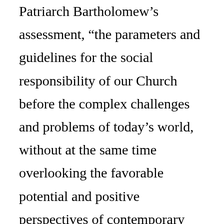Patriarch Bartholomew’s assessment, “the parameters and guidelines for the social responsibility of our Church before the complex challenges and problems of today’s world, without at the same time overlooking the favorable potential and positive perspectives of contemporary civilization.”
As “For the Life of the World” has been promoted and discussed in diverse settings over the past year, a clear priority has been to evaluate not only what it means for the